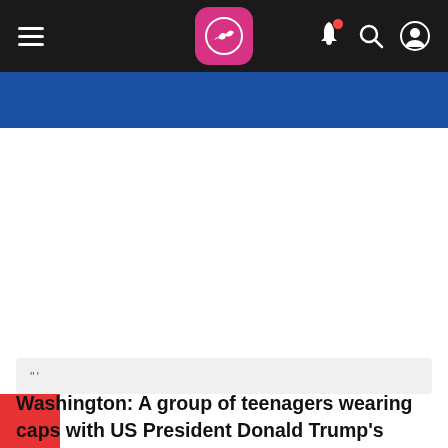Navigation bar with hamburger menu, logo, bell notification, search, and user account icons
[Figure (photo): Blue banner strip and white image placeholder area below the navigation bar]
"""
Washington: A group of teenagers wearing caps with US President Donald Trump's campaign slogan "Make America Great Again", taunted a Native